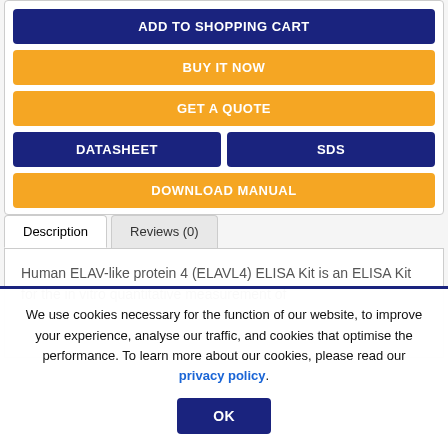[Figure (screenshot): E-commerce product page with buttons: ADD TO SHOPPING CART (blue), BUY IT NOW (yellow), GET A QUOTE (yellow), DATASHEET and SDS side by side (blue), DOWNLOAD MANUAL (yellow)]
Description
Reviews (0)
Human ELAV-like protein 4 (ELAVL4) ELISA Kit is an ELISA Kit for the in vitro quantitative measurement of
We use cookies necessary for the function of our website, to improve your experience, analyse our traffic, and cookies that optimise the performance. To learn more about our cookies, please read our privacy policy.